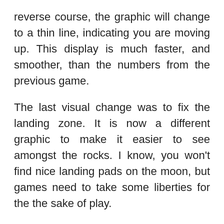reverse course, the graphic will change to a thin line, indicating you are moving up. This display is much faster, and smoother, than the numbers from the previous game.
The last visual change was to fix the landing zone. It is now a different graphic to make it easier to see amongst the rocks. I know, you won't find nice landing pads on the moon, but games need to take some liberties for the the sake of play.
# More fun to play.
Beyond the visual changes, the game sports